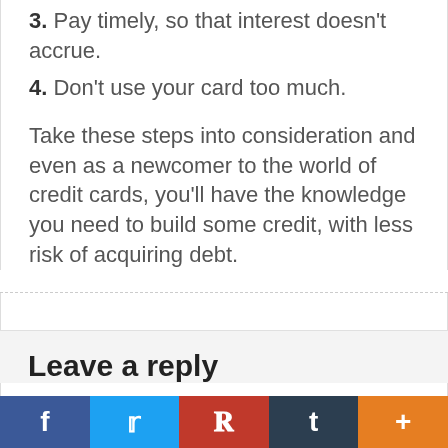3. Pay timely, so that interest doesn't accrue.
4. Don't use your card too much.
Take these steps into consideration and even as a newcomer to the world of credit cards, you'll have the knowledge you need to build some credit, with less risk of acquiring debt.
FILED UNDER: LIFESTYLE
TAGGED WITH: FEATURED
Leave a reply